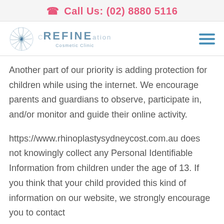Call Us: (02) 8880 5116
[Figure (logo): Refineation Cosmetic Clinic logo with peacock feather icon]
Another part of our priority is adding protection for children while using the internet. We encourage parents and guardians to observe, participate in, and/or monitor and guide their online activity.
https://www.rhinoplastysydneycost.com.au does not knowingly collect any Personal Identifiable Information from children under the age of 13. If you think that your child provided this kind of information on our website, we strongly encourage you to contact